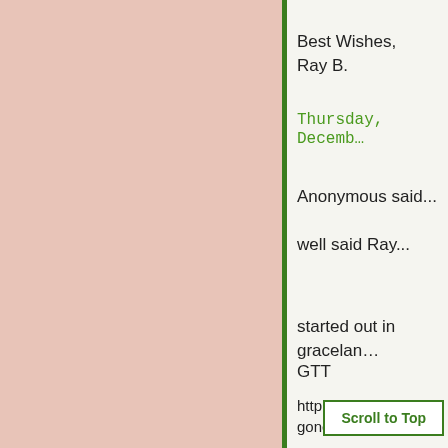[Figure (illustration): Left panel with solid pinkish-beige background color]
Best Wishes,
Ray B.
Thursday, Decemb...
Anonymous said...
well said Ray...
started out in gracelan...
GTT
http://gtt-gonetotexas....
Scroll to Top